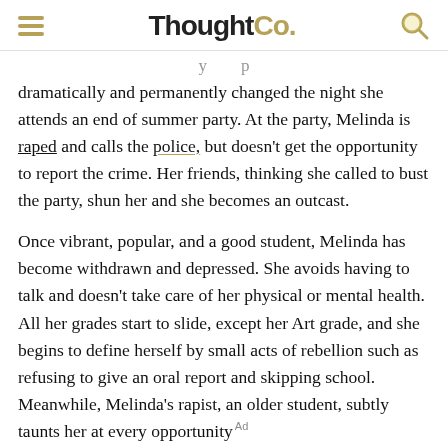ThoughtCo.
dramatically and permanently changed the night she attends an end of summer party. At the party, Melinda is raped and calls the police, but doesn't get the opportunity to report the crime. Her friends, thinking she called to bust the party, shun her and she becomes an outcast.
Once vibrant, popular, and a good student, Melinda has become withdrawn and depressed. She avoids having to talk and doesn't take care of her physical or mental health. All her grades start to slide, except her Art grade, and she begins to define herself by small acts of rebellion such as refusing to give an oral report and skipping school. Meanwhile, Melinda's rapist, an older student, subtly taunts her at every opportunity
[Figure (logo): Dotdash Meredith advertisement banner with text 'We help people find answers, solve problems and get inspired.']